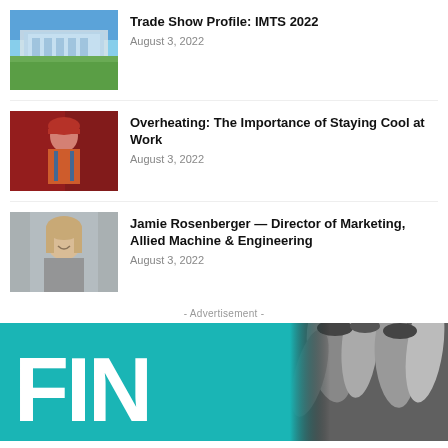[Figure (photo): Exterior photo of a modern building with glass facade and green lawn, blue sky background]
Trade Show Profile: IMTS 2022
August 3, 2022
[Figure (photo): Worker in orange safety vest and red hard hat looking up, industrial background with red machinery]
Overheating: The Importance of Staying Cool at Work
August 3, 2022
[Figure (photo): Professional headshot of smiling woman with blonde hair, wearing gray polo shirt]
Jamie Rosenberger — Director of Marketing, Allied Machine & Engineering
August 3, 2022
- Advertisement -
[Figure (photo): Advertisement banner with teal background showing large white text starting with FIN and chrome metal pipe fittings on the right side]